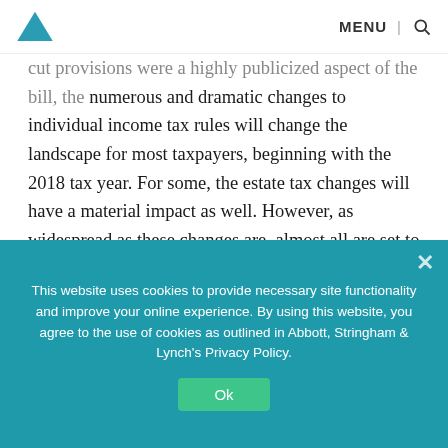MENU | [search icon]
cut provisions were a highly publicized aspect of the bill, the numerous and dramatic changes to individual income tax rules will change the landscape for most taxpayers, beginning with the 2018 tax year. For some, the estate tax changes will have a material impact as well. However, as widespread as these changes are, almost all are set to last only seven years, through 2025, unless Congress acts to extend or revamp the laws before then. (more...)
Share Article
This website uses cookies to provide necessary site functionality and improve your online experience. By using this website, you agree to the use of cookies as outlined in Abbott, Stringham & Lynch's Privacy Policy.
Categories: estate tax, individual income tax, Tax Cuts and Jobs Act, Tax Reform
Tags: estate tax, Individual Income Tax, Tax Cuts and Jobs Act, Tax Reform,